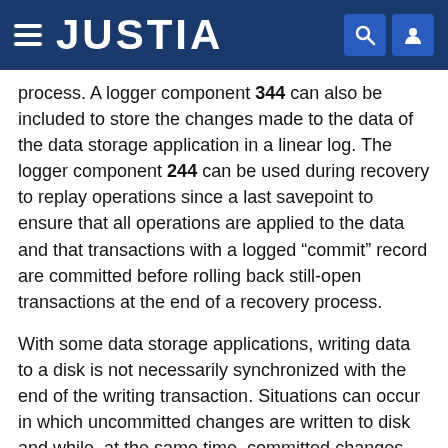JUSTIA
process. A logger component 344 can also be included to store the changes made to the data of the data storage application in a linear log. The logger component 244 can be used during recovery to replay operations since a last savepoint to ensure that all operations are applied to the data and that transactions with a logged “commit” record are committed before rolling back still-open transactions at the end of a recovery process.
With some data storage applications, writing data to a disk is not necessarily synchronized with the end of the writing transaction. Situations can occur in which uncommitted changes are written to disk and while, at the same time, committed changes are not yet written to disk when the writing transaction is finished. After a system crash, changes made by transactions that were